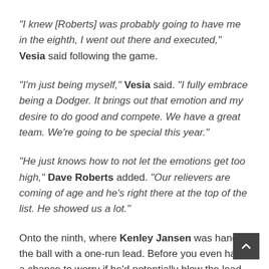"I knew [Roberts] was probably going to have me in the eighth, I went out there and executed," Vesia said following the game.
"I'm just being myself," Vesia said. "I fully embrace being a Dodger. It brings out that emotion and my desire to do good and compete. We have a great team. We're going to be special this year."
"He just knows how to not let the emotions get too high," Dave Roberts added. "Our relievers are coming of age and he's right there at the top of the list. He showed us a lot."
Onto the ninth, where Kenley Jansen was handed the ball with a one-run lead. Before you even had a chance to worry if he'd potentially blow the lead, Jansen was